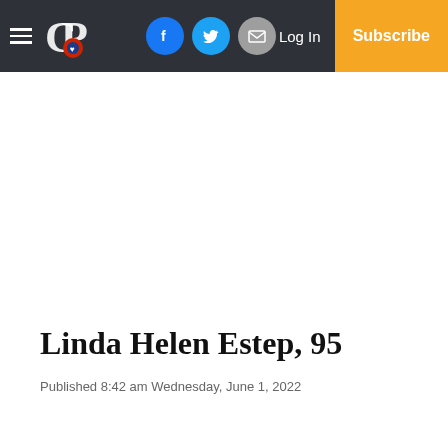CP | Log In | Subscribe | Facebook | Twitter | Email
Linda Helen Estep, 95
Published 8:42 am Wednesday, June 1, 2022